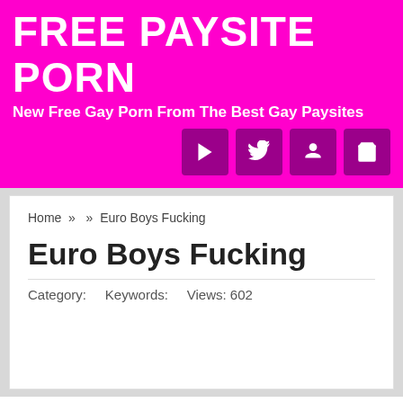FREE PAYSITE PORN
New Free Gay Porn From The Best Gay Paysites
Home » » Euro Boys Fucking
Euro Boys Fucking
Category:    Keywords:    Views: 602